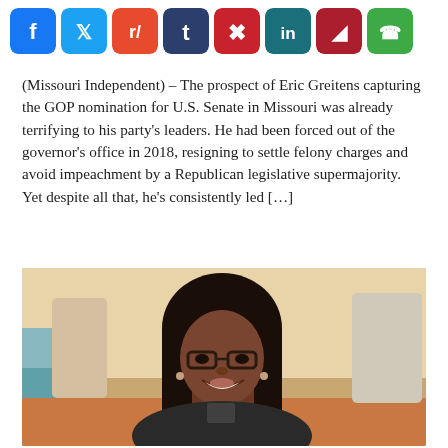[Figure (infographic): Social media share buttons row: Facebook (blue), Twitter (light blue), Reddit (orange-red), Tumblr (dark blue), Pinterest (red), LinkedIn (dark teal), Parler (dark red), WhatsApp (green)]
(Missouri Independent) – The prospect of Eric Greitens capturing the GOP nomination for U.S. Senate in Missouri was already terrifying to his party's leaders. He had been forced out of the governor's office in 2018, resigning to settle felony charges and avoid impeachment by a Republican legislative supermajority.  Yet despite all that, he's consistently led […]
[Figure (photo): A smiling woman with long black hair and glasses, wearing a dark jacket, seated indoors with a warm ambient background including chairs and soft lighting.]